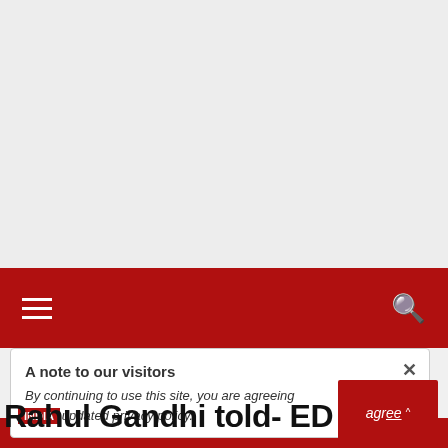[Figure (screenshot): Gray blank area at top of webpage, likely an advertisement space]
Navigation bar with hamburger menu and search icon on red background
A note to our visitors
By continuing to use this site, you are agreeing to our updated privacy policy.
Rahul Gandhi told- ED